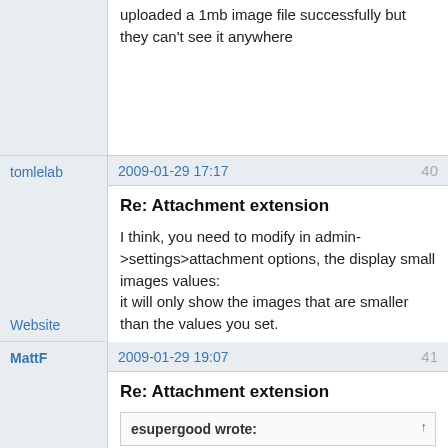uploaded a 1mb image file successfully but they can't see it anywhere
tomlelab
2009-01-29 17:17
40
Re: Attachment extension
I think, you need to modify in admin->settings>attachment options, the display small images values:
it will only show the images that are smaller than the values you set.
Website
MattF
2009-01-29 19:07
41
Re: Attachment extension
esupergood wrote: